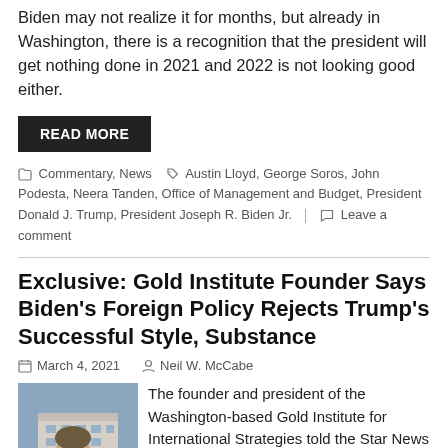Biden may not realize it for months, but already in Washington, there is a recognition that the president will get nothing done in 2021 and 2022 is not looking good either.
READ MORE
Commentary, News  Austin Lloyd, George Soros, John Podesta, Neera Tanden, Office of Management and Budget, President Donald J. Trump, President Joseph R. Biden Jr.  Leave a comment
Exclusive: Gold Institute Founder Says Biden's Foreign Policy Rejects Trump's Successful Style, Substance
March 4, 2021   Neil W. McCabe
[Figure (photo): Headshot of a man with glasses in front of a building, likely the White House]
The founder and president of the Washington-based Gold Institute for International Strategies told the Star News Network that President Joseph R. Biden Jr.'s foreign policy is doomed to fail, because unlike President Donald J. Trump, Biden treats the